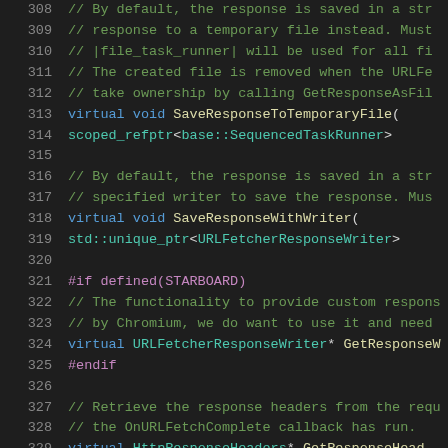Source code listing, lines 308-329, C++ header file with URL fetcher class declarations